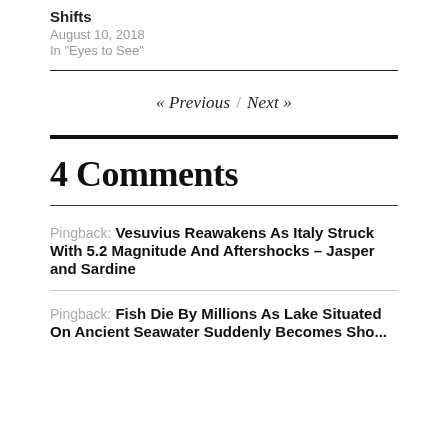Shifts
August 10, 2018
In "Eyes to See"
« Previous / Next »
4 Comments
Pingback: Vesuvius Reawakens As Italy Struck With 5.2 Magnitude And Aftershocks – Jasper and Sardine
Pingback: Fish Die By Millions As Lake Situated On Ancient Seawater Suddenly Becomes Sho...